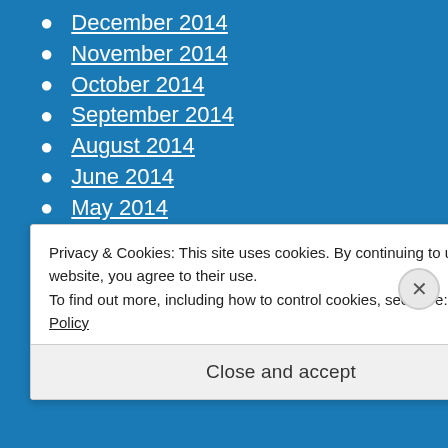December 2014
November 2014
October 2014
September 2014
August 2014
June 2014
May 2014
April 2014
March 2014
February 2014
January 2014
Privacy & Cookies: This site uses cookies. By continuing to use this website, you agree to their use.
To find out more, including how to control cookies, see here: Cookie Policy
Close and accept